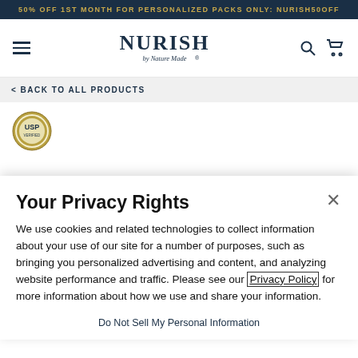50% OFF 1ST MONTH FOR PERSONALIZED PACKS ONLY: NURISH50OFF
[Figure (logo): Nurish by Nature Made logo with hamburger menu, search and cart icons]
< BACK TO ALL PRODUCTS
[Figure (logo): USP verified badge/seal]
Your Privacy Rights
We use cookies and related technologies to collect information about your use of our site for a number of purposes, such as bringing you personalized advertising and content, and analyzing website performance and traffic. Please see our Privacy Policy for more information about how we use and share your information.
Do Not Sell My Personal Information